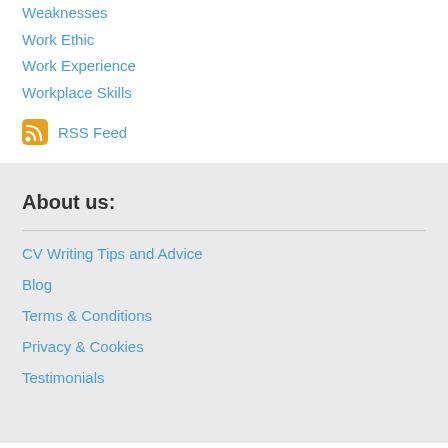Weaknesses
Work Ethic
Work Experience
Workplace Skills
RSS Feed
About us:
CV Writing Tips and Advice
Blog
Terms & Conditions
Privacy & Cookies
Testimonials